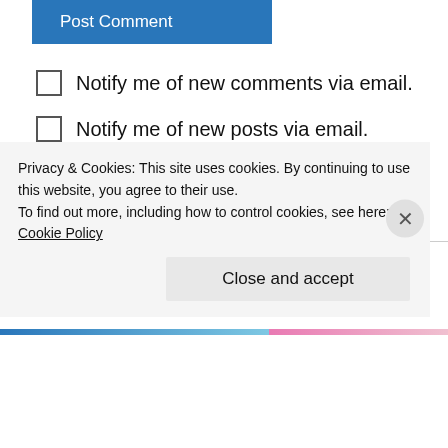Post Comment
Notify me of new comments via email.
Notify me of new posts via email.
This site uses Akismet to reduce spam. Learn how your comment data is processed.
Des on March 28, 2018 at 9:54 am
It sounds like typing out thoughts every day is
Privacy & Cookies: This site uses cookies. By continuing to use this website, you agree to their use.
To find out more, including how to control cookies, see here: Cookie Policy
Close and accept